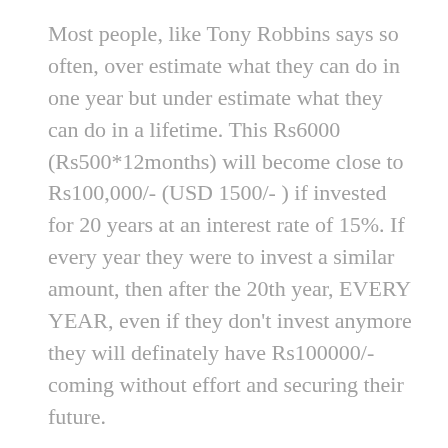Most people, like Tony Robbins says so often, over estimate what they can do in one year but under estimate what they can do in a lifetime. This Rs6000 (Rs500*12months) will become close to Rs100,000/- (USD 1500/- ) if invested for 20 years at an interest rate of 15%. If every year they were to invest a similar amount, then after the 20th year, EVERY YEAR, even if they don't invest anymore they will definately have Rs100000/- coming without effort and securing their future.
Now if you know that even the small amounts of money that you are stacking will ensure your future, you would be able to take on your “present” with more confidence. And if you make your “present” better, your future will automatically turn out to be better because your future is based on the foundation